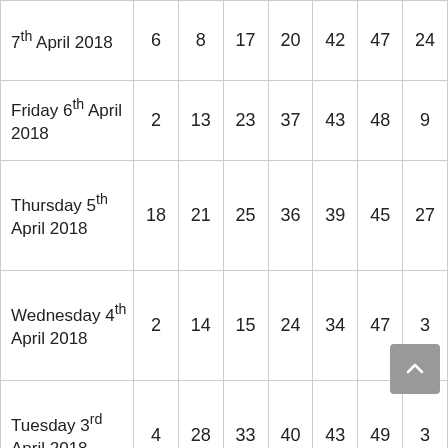| Date |  |  |  |  |  |  |  |
| --- | --- | --- | --- | --- | --- | --- | --- |
| 7th April 2018 | 6 | 8 | 17 | 20 | 42 | 47 | 24 |
| Friday 6th April 2018 | 2 | 13 | 23 | 37 | 43 | 48 | 9 |
| Thursday 5th April 2018 | 18 | 21 | 25 | 36 | 39 | 45 | 27 |
| Wednesday 4th April 2018 | 2 | 14 | 15 | 24 | 34 | 47 | 3 |
| Tuesday 3rd April 2018 | 4 | 28 | 33 | 40 | 43 | 49 | 3 |
| Monday |  |  |  |  |  |  |  |